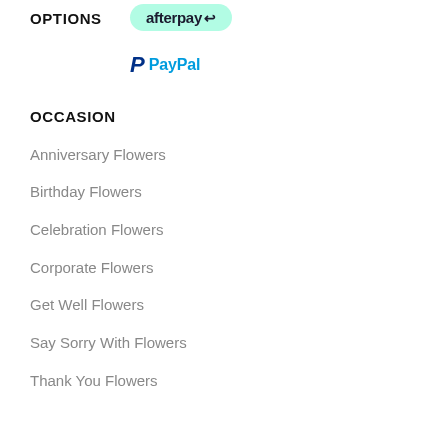OPTIONS
[Figure (logo): Afterpay logo — mint green pill-shaped background with 'afterpay' text and arrow icon]
[Figure (logo): PayPal logo — blue P icon with 'PayPal' text]
OCCASION
Anniversary Flowers
Birthday Flowers
Celebration Flowers
Corporate Flowers
Get Well Flowers
Say Sorry With Flowers
Thank You Flowers